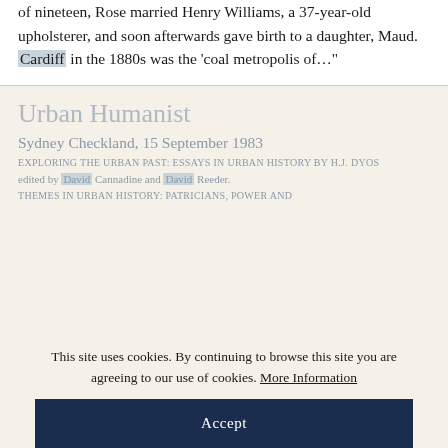of nineteen, Rose married Henry Williams, a 37-year-old upholsterer, and soon afterwards gave birth to a daughter, Maud. Cardiff in the 1880s was the 'coal metropolis of…"
Urban Humanist
Sydney Checkland, 15 September 1983
Exploring the Urban Past: Essays in Urban History by H.J. Dyos
edited by David Cannadine and David Reeder.
Themes in Urban History: Patricians, Power and…
This site uses cookies. By continuing to browse this site you are agreeing to our use of cookies. More Information